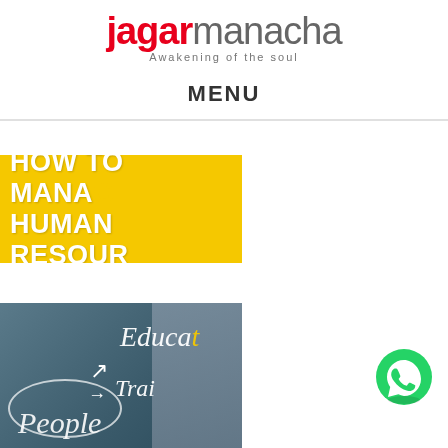jagarmanacha — Awakening of the soul
MENU
[Figure (infographic): Yellow banner with bold white text reading HOW TO MANAGE HUMAN RESOURCES (partially visible, cropped at right)]
[Figure (photo): Blackboard/whiteboard with handwritten text: People (circle), Education (with arrow), Training/Trai (with arrow). A blurred person visible in background.]
[Figure (other): WhatsApp green phone icon button in bottom right corner]